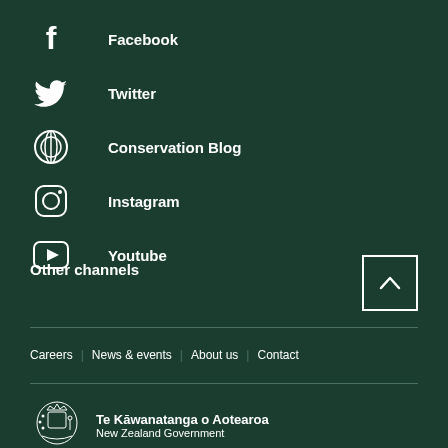Facebook
Twitter
Conservation Blog
Instagram
Youtube
Other channels
Careers | News & events | About us | Contact
[Figure (logo): Te Kawanatanga o Aotearoa New Zealand Government coat of arms logo]
Te Kāwanatanga o Aotearoa
New Zealand Government